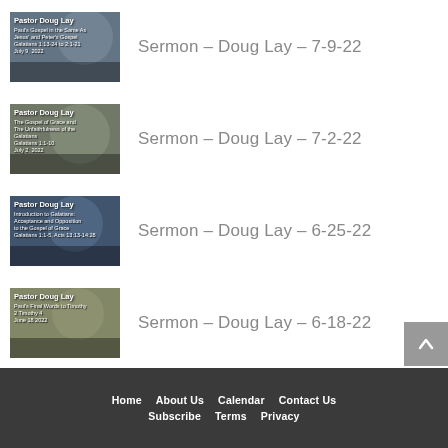Sermon – Doug Lay – 7-9-22
Sermon – Doug Lay – 7-2-22
Sermon – Doug Lay – 6-25-22
Sermon – Doug Lay – 6-18-22
Home  About Us  Calendar  Contact Us  Subscribe  Terms  Privacy